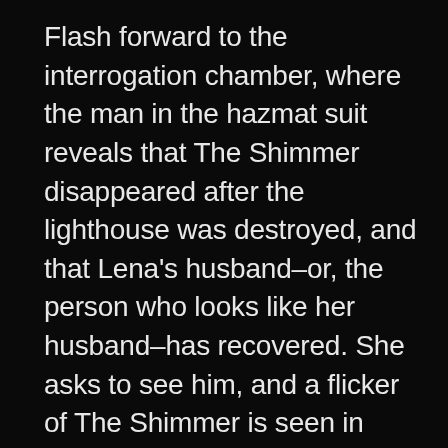Flash forward to the interrogation chamber, where the man in the hazmat suit reveals that The Shimmer disappeared after the lighthouse was destroyed, and that Lena's husband–or, the person who looks like her husband–has recovered. She asks to see him, and a flicker of The Shimmer is seen in their eyes as they embrace and the credits roll.

For all the talk of Annihilation's many influences–Apocalypse Now, Alien, 2001,